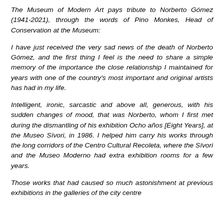The Museum of Modern Art pays tribute to Norberto Gómez (1941-2021), through the words of Pino Monkes, Head of Conservation at the Museum:
I have just received the very sad news of the death of Norberto Gómez, and the first thing I feel is the need to share a simple memory of the importance the close relationship I maintained for years with one of the country's most important and original artists has had in my life.
Intelligent, ironic, sarcastic and above all, generous, with his sudden changes of mood, that was Norberto, whom I first met during the dismantling of his exhibition Ocho años [Eight Years], at the Museo Sívori, in 1986. I helped him carry his works through the long corridors of the Centro Cultural Recoleta, where the Sívori and the Museo Moderno had extra exhibition rooms for a few years.
Those works that had caused so much astonishment at previous exhibitions in the galleries of the city centre